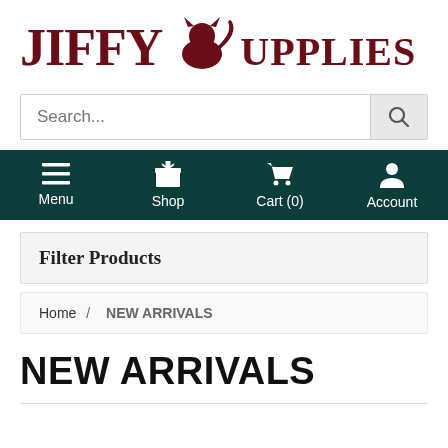[Figure (logo): Jiffy Supplies logo with dark red serif text 'JIFFY' and 'SUPPLIES' with a cat silhouette icon in between]
Search...
Menu  Shop  Cart (0)  Account
Filter Products
Home / NEW ARRIVALS
NEW ARRIVALS